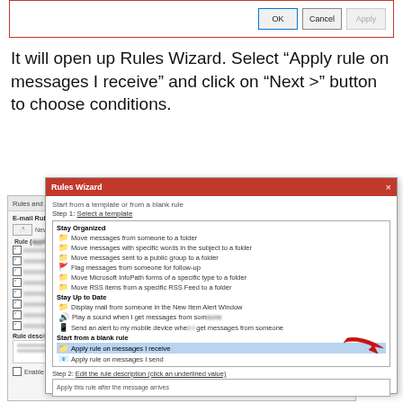[Figure (screenshot): Top portion of a Windows dialog with OK, Cancel, Apply buttons, bordered in red]
It will open up Rules Wizard. Select “Apply rule on messages I receive” and click on “Next >” button to choose conditions.
[Figure (screenshot): Rules Wizard dialog over Rules and Alerts background window. The dialog shows template categories Stay Organized, Stay Up to Date, and Start from a blank rule. 'Apply rule on messages I receive' is selected (highlighted in blue) with a red arrow pointing to it. Step 2 shows 'Apply this rule after the message arrives'.]